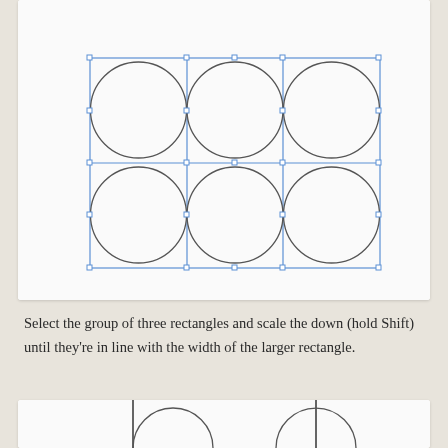[Figure (illustration): A CAD/vector diagram showing a large rectangle divided into a 2x3 grid of six cells, each containing a circle that fills the cell. The rectangle and grid lines are shown with blue selection handles at corners and midpoints, indicating the shapes are selected. Three circles are in the top row and three in the bottom row.]
Select the group of three rectangles and scale the down (hold Shift) until they're in line with the width of the larger rectangle.
[Figure (illustration): Bottom portion of another diagram card, partially visible, showing vertical black lines and the tops of two circles.]